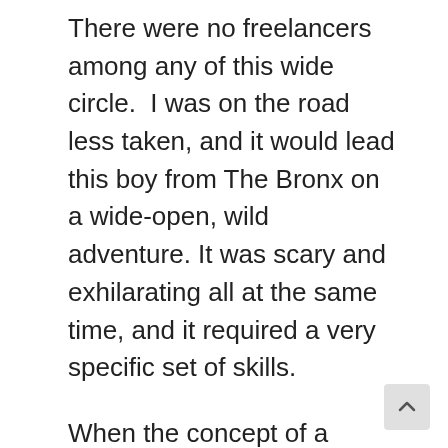There were no freelancers among any of this wide circle.  I was on the road less taken, and it would lead this boy from The Bronx on a wide-open, wild adventure. It was scary and exhilarating all at the same time, and it required a very specific set of skills.
When the concept of a freelance first came into the English language in the early 1800s, it was used to refer to a Medieval Mercenary who would fight for whichever nation or person paid him the most.
Film production is not that cut throat (at least not most of the time thankfully), but as a freelanc existence it requires chameleon like abilities and